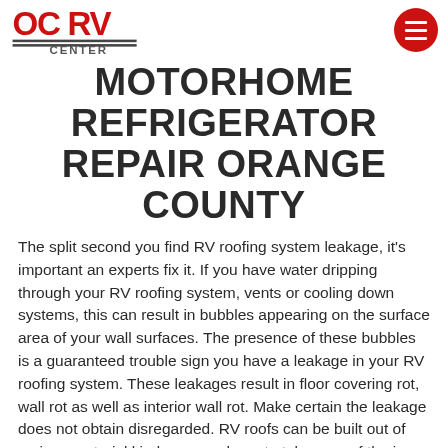OC RV CENTER [logo] [hamburger menu]
MOTORHOME REFRIGERATOR REPAIR ORANGE COUNTY
The split second you find RV roofing system leakage, it's important an experts fix it. If you have water dripping through your RV roofing system, vents or cooling down systems, this can result in bubbles appearing on the surface area of your wall surfaces. The presence of these bubbles is a guaranteed trouble sign you have a leakage in your RV roofing system. These leakages result in floor covering rot, wall rot as well as interior wall rot. Make certain the leakage does not obtain disregarded. RV roofs can be built out of various material kinds, so you have to take care of the issue with long life process techniques. When unreliable products are utilized, permanent damage can occur, as well as you might create entire change the